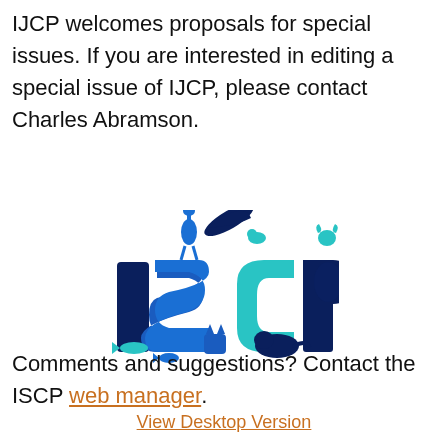IJCP welcomes proposals for special issues. If you are interested in editing a special issue of IJCP, please contact Charles Abramson.
[Figure (logo): ISCP logo with large bold letters I, S, C, P in dark blue, blue, and teal colors, decorated with silhouettes of various animals including a dolphin, ostrich, bird, monkey, cats, and fish in shades of blue and teal.]
Comments and suggestions? Contact the ISCP web manager.
View Desktop Version